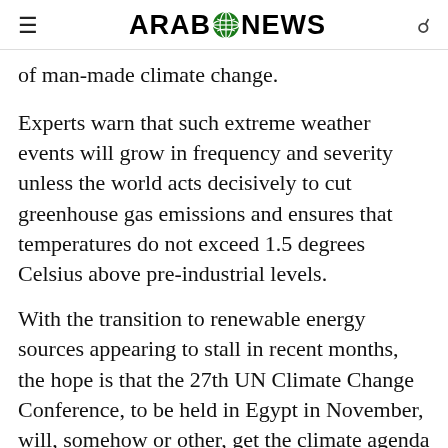ARAB NEWS
of man-made climate change.
Experts warn that such extreme weather events will grow in frequency and severity unless the world acts decisively to cut greenhouse gas emissions and ensures that temperatures do not exceed 1.5 degrees Celsius above pre-industrial levels.
With the transition to renewable energy sources appearing to stall in recent months, the hope is that the 27th UN Climate Change Conference, to be held in Egypt in November, will, somehow or other, get the climate agenda back on track.
EXPOSURE TO CLIMATE CHANGE
Degree of exposure ranges from insulated to vulnerable